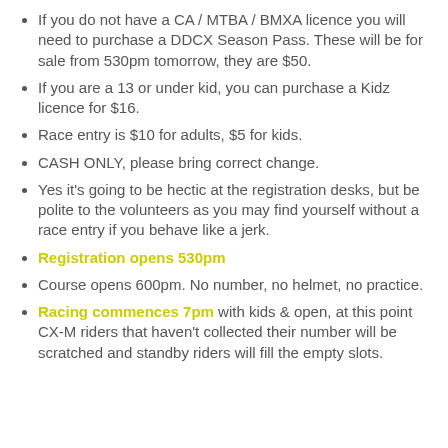If you do not have a CA / MTBA / BMXA licence you will need to purchase a DDCX Season Pass. These will be for sale from 530pm tomorrow, they are $50.
If you are a 13 or under kid, you can purchase a Kidz licence for $16.
Race entry is $10 for adults, $5 for kids.
CASH ONLY, please bring correct change.
Yes it's going to be hectic at the registration desks, but be polite to the volunteers as you may find yourself without a race entry if you behave like a jerk.
Registration opens 530pm
Course opens 600pm. No number, no helmet, no practice.
Racing commences 7pm with kids & open, at this point CX-M riders that haven't collected their number will be scratched and standby riders will fill the empty slots.